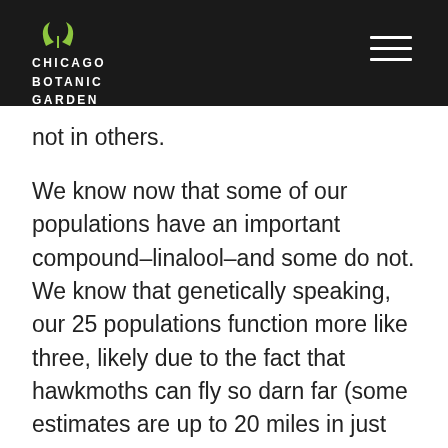CHICAGO BOTANIC GARDEN
not in others.
We know now that some of our populations have an important compound–linalool–and some do not. We know that genetically speaking, our 25 populations function more like three, likely due to the fact that hawkmoths can fly so darn far (some estimates are up to 20 miles in just one night). And more recently, we started gathering more data on those little white balls. It turns out that they are parts of the cocoons that surround the larvae of tiny little...